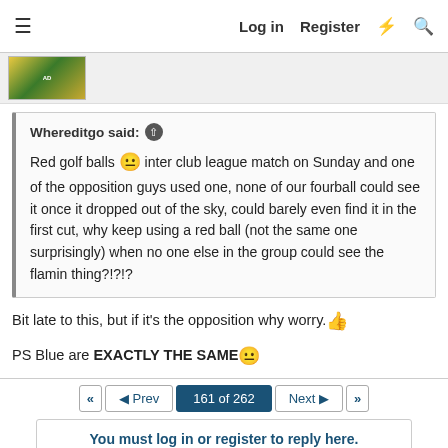≡  Log in  Register  ⚡  🔍
[Figure (photo): Advertisement banner with golf-related image]
Whereditgo said: ↑ Red golf balls 😐 inter club league match on Sunday and one of the opposition guys used one, none of our fourball could see it once it dropped out of the sky, could barely even find it in the first cut, why keep using a red ball (not the same one surprisingly) when no one else in the group could see the flamin thing?!?!?
Bit late to this, but if it's the opposition why worry.👍
PS Blue are EXACTLY THE SAME 😐
◄◄  ◄ Prev  161 of 262  Next ►  ►►
You must log in or register to reply here.